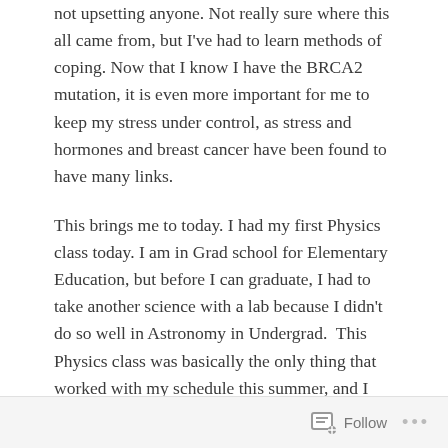not upsetting anyone. Not really sure where this all came from, but I've had to learn methods of coping. Now that I know I have the BRCA2 mutation, it is even more important for me to keep my stress under control, as stress and hormones and breast cancer have been found to have many links.
This brings me to today. I had my first Physics class today. I am in Grad school for Elementary Education, but before I can graduate, I had to take another science with a lab because I didn't do so well in Astronomy in Undergrad.  This Physics class was basically the only thing that worked with my schedule this summer, and I thought it would be a good idea to get it out of the way during the summer while things were less stressful and I wouldn't be working full time.  Boy was I WRONG.
Follow ...